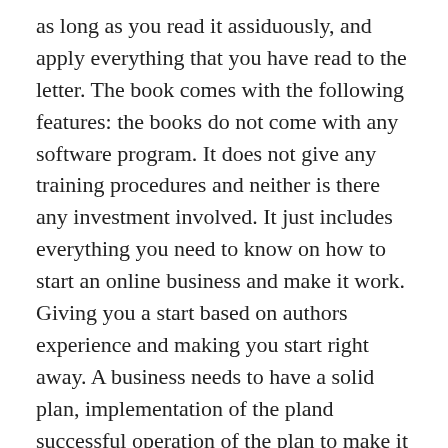as long as you read it assiduously, and apply everything that you have read to the letter. The book comes with the following features: the books do not come with any software program. It does not give any training procedures and neither is there any investment involved. It just includes everything you need to know on how to start an online business and make it work. Giving you a start based on authors experience and making you start right away. A business needs to have a solid plan, implementation of the pland successful operation of the plan to make it work. The book will teach you how to do it so income can be possible on a day to day basis. There is no automated system or get rich quick scheme that promises this. A guarantee of money back refund if the book does not meet your expectations.author is convincing you to try her formula for 60 days and if it does not work, will gladly refund the money to you. Challenges one to get the book, try it for 60